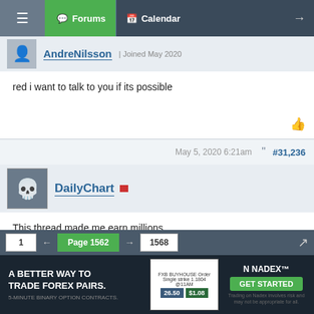Forums | Calendar
AndreNilsson | Joined May 2020
red i want to talk to you if its possible
May 5, 2020 6:21am  #31,236
DailyChart
This thread made me earn millions

Thanks
Jun 16, 2020 5:40am  #31,237
SimoBullot | Joined Jan 2020
1  ←  Page 1562  →  1568